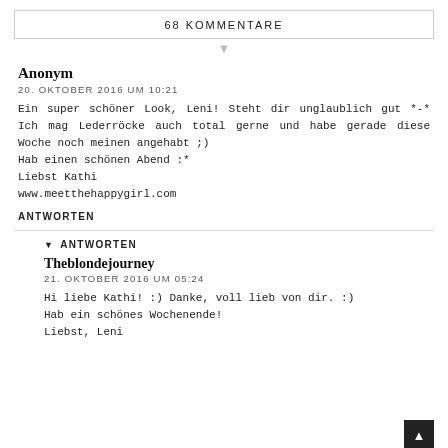68 KOMMENTARE
Anonym
20. OKTOBER 2016 UM 10:21
Ein super schöner Look, Leni! Steht dir unglaublich gut *-* Ich mag Lederröcke auch total gerne und habe gerade diese Woche noch meinen angehabt ;)
Hab einen schönen Abend :*
Liebst Kathi
www.meetthehappygirl.com
ANTWORTEN
ANTWORTEN
Theblondejourney
21. OKTOBER 2016 UM 05:24
Hi liebe Kathi! :) Danke, voll lieb von dir. :)
Hab ein schönes Wochenende!
Liebst, Leni